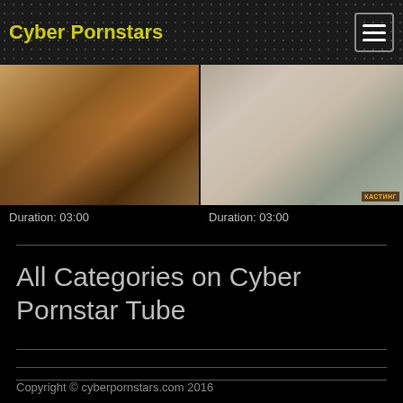Cyber Pornstars
[Figure (screenshot): Two adult video thumbnails side by side, each showing intimate content]
Duration: 03:00
Duration: 03:00
All Categories on Cyber Pornstar Tube
Copyright © cyberpornstars.com 2016